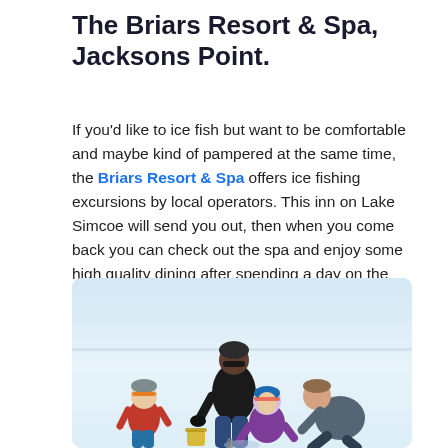The Briars Resort & Spa, Jacksons Point.
If you'd like to ice fish but want to be comfortable and maybe kind of pampered at the same time, the Briars Resort & Spa offers ice fishing excursions by local operators. This inn on Lake Simcoe will send you out, then when you come back you can check out the spa and enjoy some high quality dining after spending a day on the ice.
[Figure (photo): A family of adults and children gathered on a frozen lake, ice fishing together in winter clothing. Light blue winter sky and snow-covered ice in the background.]